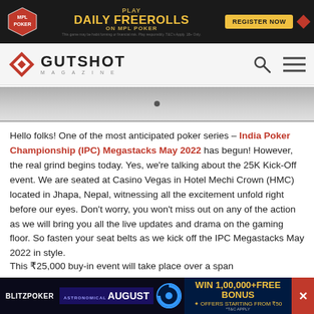[Figure (infographic): MPL Poker advertisement banner: Play Daily Freerolls on MPL Poker with Register Now button]
GUTSHOT MAGAZINE
[Figure (photo): Casino gaming floor interior photo showing rows of poker tables]
Hello folks! One of the most anticipated poker series – India Poker Championship (IPC) Megastacks May 2022 has begun! However, the real grind begins today. Yes, we're talking about the 25K Kick-Off event. We are seated at Casino Vegas in Hotel Mechi Crown (HMC) located in Jhapa, Nepal, witnessing all the excitement unfold right before our eyes. Don't worry, you won't miss out on any of the action as we will bring you all the live updates and drama on the gaming floor. So fasten your seat belts as we kick off the IPC Megastacks May 2022 in style.
This ₹25,000 buy-in event will take place over a span of two days before we see one player walk away w… 25K
[Figure (infographic): BlitzPoker advertisement: Astronomical August – Win 1,00,000 + Free Bonus, Offers starting from ₹50]